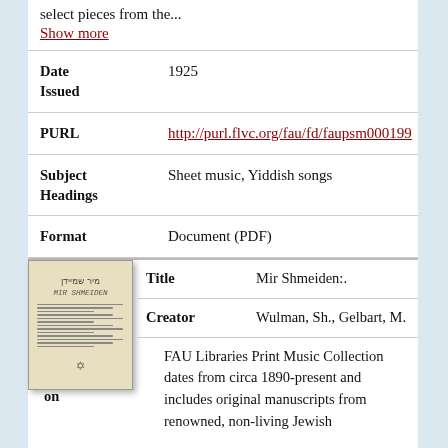select pieces from the...
Show more
Date Issued
1925
PURL
http://purl.flvc.org/fau/fd/faupsm000199
Subject Headings
Sheet music, Yiddish songs
Format
Document (PDF)
[Figure (photo): Thumbnail image of sheet music cover for Mir Shmeiden]
Title
Mir Shmeiden:.
Creator
Wulman, Sh., Gelbart, M.
Abstract/Description
FAU Libraries Print Music Collection dates from circa 1890-present and includes original manuscripts from renowned, non-living Jewish